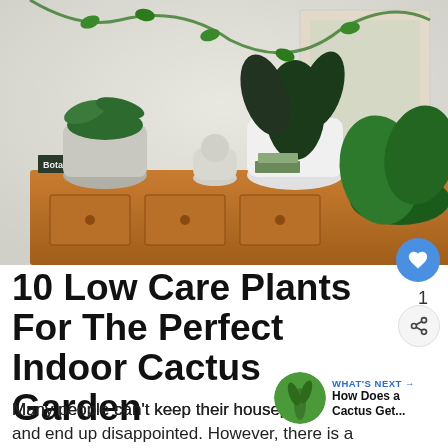[Figure (photo): Indoor plant shelfie: multiple houseplants including trailing vines, rubber plant in white pot, and large-leafed plant on an orange/wood mid-century dresser. A book labeled 'Botanica' is visible.]
10 Low Care Plants For The Perfect Indoor Cactus Garden
Many people can't keep their houseplants alive and end up disappointed. However, there is a beautiful solution to having the lush green thumb
WHAT'S NEXT → How Does a Cactus Get...